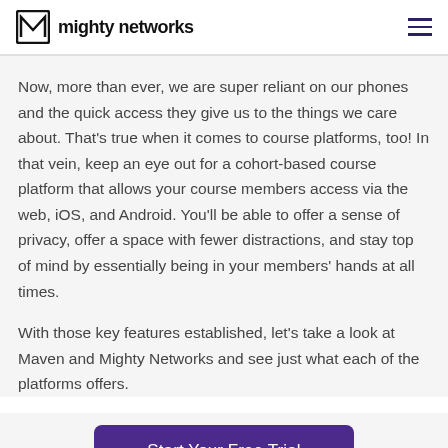mighty networks
Now, more than ever, we are super reliant on our phones and the quick access they give us to the things we care about. That's true when it comes to course platforms, too! In that vein, keep an eye out for a cohort-based course platform that allows your course members access via the web, iOS, and Android. You'll be able to offer a sense of privacy, offer a space with fewer distractions, and stay top of mind by essentially being in your members' hands at all times.
With those key features established, let's take a look at Maven and Mighty Networks and see just what each of the platforms offers.
Start Your Free Trial